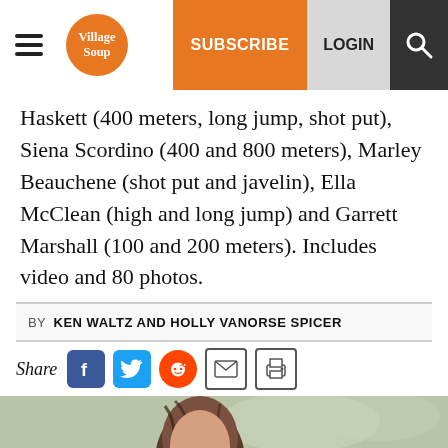Village Soup | SUBSCRIBE | LOGIN
Haskett (400 meters, long jump, shot put), Siena Scordino (400 and 800 meters), Marley Beauchene (shot put and javelin), Ella McClean (high and long jump) and Garrett Marshall (100 and 200 meters). Includes video and 80 photos.
BY KEN WALTZ AND HOLLY VANORSE SPICER
Share
[Figure (photo): Person with dark hair, outdoor photo, blurred green background]